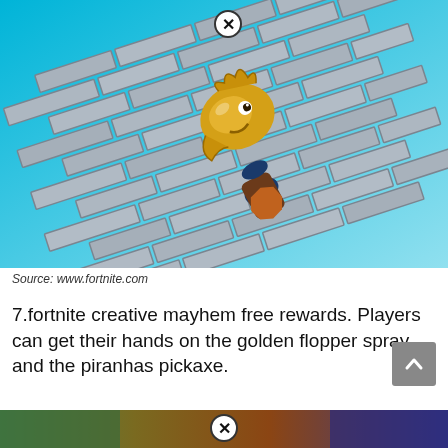[Figure (illustration): Fortnite game screenshot showing a golden fish/flopper head trophy pickaxe mounted on a diagonal brick wall, on a teal/cyan gradient background. A circular close button with X is visible at the top.]
Source: www.fortnite.com
7.fortnite creative mayhem free rewards. Players can get their hands on the golden flopper spray and the piranhas pickaxe.
[Figure (screenshot): Partial bottom image showing another Fortnite item/screenshot, partially cut off at bottom of page with a circular X close button visible.]